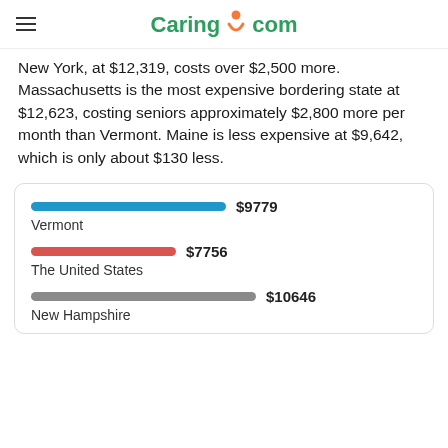Caring.com
New York, at $12,319, costs over $2,500 more. Massachusetts is the most expensive bordering state at $12,623, costing seniors approximately $2,800 more per month than Vermont. Maine is less expensive at $9,642, which is only about $130 less.
[Figure (bar-chart): Cost comparison]